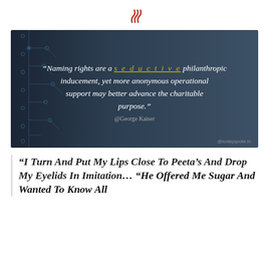🔥 (steam/heat icon)
[Figure (illustration): Dark blue-grey background with circuit board pattern on left side. White italic text quote: "Naming rights are a seductive philanthropic inducement, yet more anonymous operational support may better advance the charitable purpose." Attribution: @George Kaiser. Watermark: @todayquote.in]
“I Turn And Put My Lips Close To Peeta’s And Drop My Eyelids In Imitation… “He Offered Me Sugar And Wanted To Know All